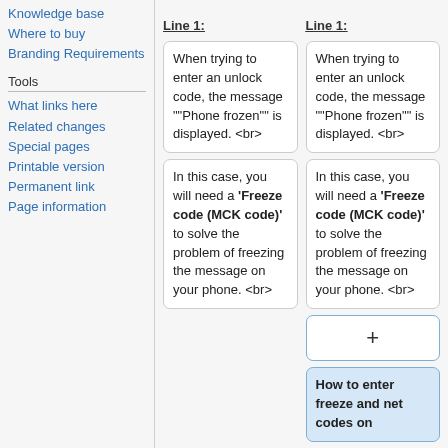Knowledge base
Where to buy
Branding Requirements
Tools
What links here
Related changes
Special pages
Printable version
Permanent link
Page information
When trying to enter an unlock code, the message ""Phone frozen"" is displayed. <br>
When trying to enter an unlock code, the message ""Phone frozen"" is displayed. <br>
In this case, you will need a '''Freeze code (MCK code)''' to solve the problem of freezing the message on your phone. <br>
In this case, you will need a '''Freeze code (MCK code)''' to solve the problem of freezing the message on your phone. <br>
+
How to enter freeze and net codes on